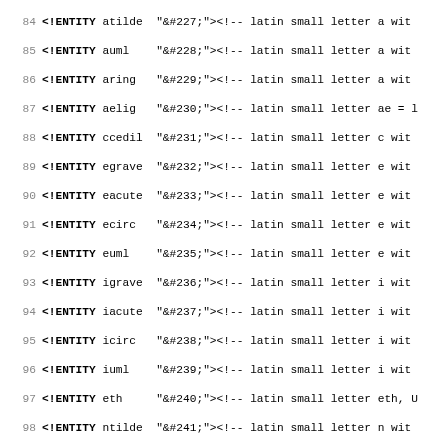Code listing showing HTML entity declarations for Latin small letters and special characters, lines 84-115